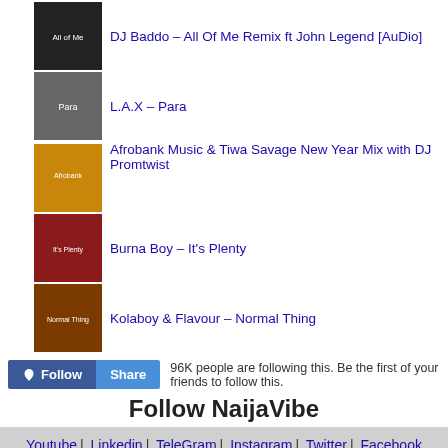DJ Baddo – All Of Me Remix ft John Legend [AuDio]
L.A.X – Para
Afrobank Music & Tiwa Savage New Year Mix with DJ Promtwist
Burna Boy – It's Plenty
Kolaboy & Flavour – Normal Thing
96K people are following this. Be the first of your friends to follow this.
Follow NaijaVibe
Youtube | Linkedin | TeleGram | Instagram | Twitter | Facebook